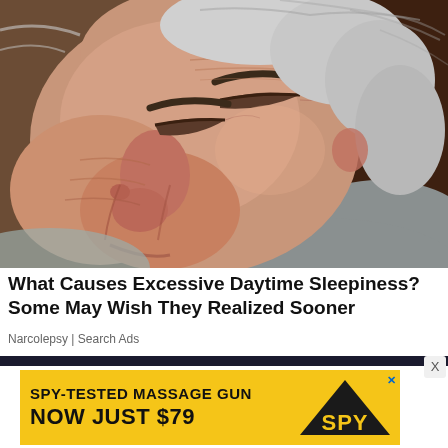[Figure (photo): Close-up photo of an elderly man with white/grey hair sleeping or resting with eyes closed, face showing wrinkles, skin sagging, resting on what appears to be a surface or someone's arm. Brown/warm-toned background.]
What Causes Excessive Daytime Sleepiness? Some May Wish They Realized Sooner
Narcolepsy | Search Ads
[Figure (screenshot): Advertisement banner: dark horizontal bar at top, then a yellow/gold banner reading 'SPY-TESTED MASSAGE GUN NOW JUST $79' with SPY logo on the right side. An X close button is visible.]